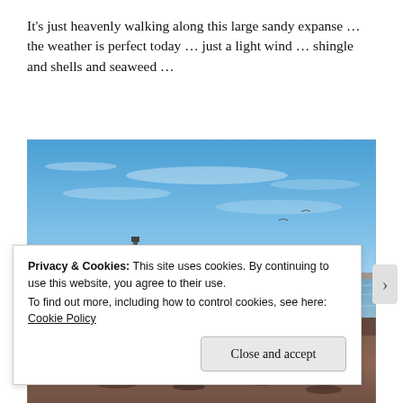It's just heavenly walking along this large sandy expanse … the weather is perfect today … just a light wind … shingle and shells and seaweed …
[Figure (photo): A sunny beach scene showing a wide sandy and pebbly shore with gentle waves, a tall chimney or lighthouse structure visible on the left horizon, and a bright blue sky with light clouds.]
Privacy & Cookies: This site uses cookies. By continuing to use this website, you agree to their use.
To find out more, including how to control cookies, see here: Cookie Policy